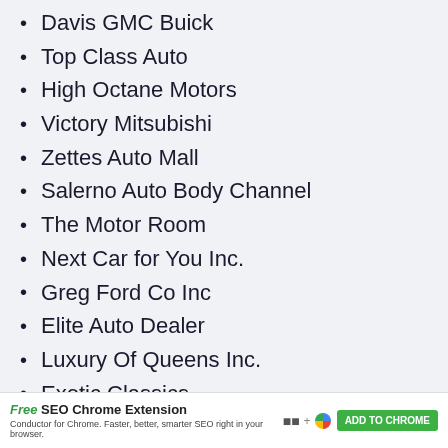Davis GMC Buick
Top Class Auto
High Octane Motors
Victory Mitsubishi
Zettes Auto Mall
Salerno Auto Body Channel
The Motor Room
Next Car for You Inc.
Greg Ford Co Inc
Elite Auto Dealer
Luxury Of Queens Inc.
Exotic Classics
Highline Motors
Free SEO Chrome Extension — Conductor for Chrome. Faster, smarter SEO right in your browser. ADD TO CHROME